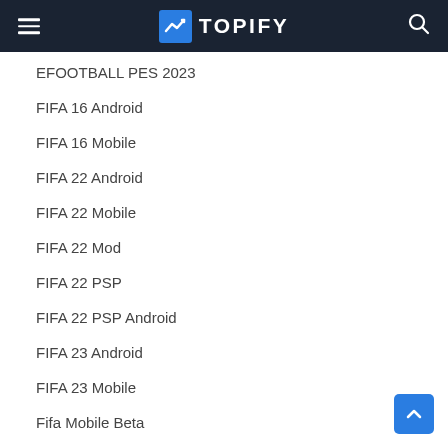TOPIFY
EFOOTBALL PES 2023
FIFA 16 Android
FIFA 16 Mobile
FIFA 22 Android
FIFA 22 Mobile
FIFA 22 Mod
FIFA 22 PSP
FIFA 22 PSP Android
FIFA 23 Android
FIFA 23 Mobile
Fifa Mobile Beta
First Touch Soccer 2022
First Touch Soccer 2023
Football Games